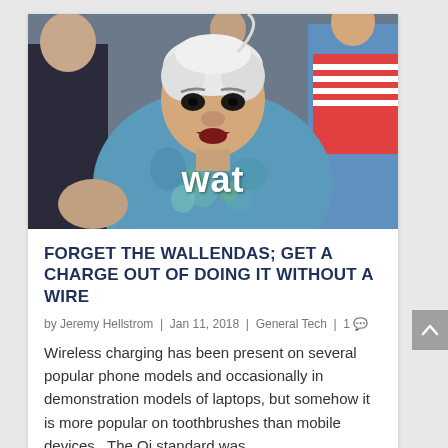[Figure (photo): Outdoor crowd photo of a stout older woman with white hair wearing a floral blue shirt, with the word 'wat' overlaid in bold white text on her chest. Other people visible in background.]
FORGET THE WALLENDAS; GET A CHARGE OUT OF DOING IT WITHOUT A WIRE
by Jeremy Hellstrom | Jan 11, 2018 | General Tech | 1
Wireless charging has been present on several popular phone models and occasionally in demonstration models of laptops, but somehow it is more popular on toothbrushes than mobile devices.  The Qi standard was...